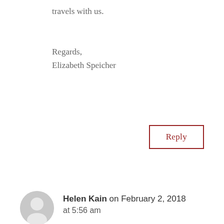travels with us.
Regards,
Elizabeth Speicher
Reply
Helen Kain on February 2, 2018 at 5:56 am
Hi Elizabeth,
Finding the wine was indeed serendipitous. It's like when you buy a certain car, suddenly they show up everywhere. I think I had red scooters on the brain...
No one does markets like the French!